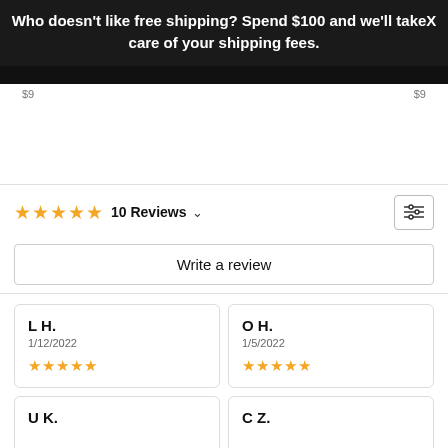Who doesn't like free shipping? Spend $100 and we'll takeX care of your shipping fees.
$9   $9
★★★★★  10 Reviews ∨
Write a review
L H.
1/12/2022
★★★★★
O H.
1/5/2022
★★★★★
U K.
C Z.